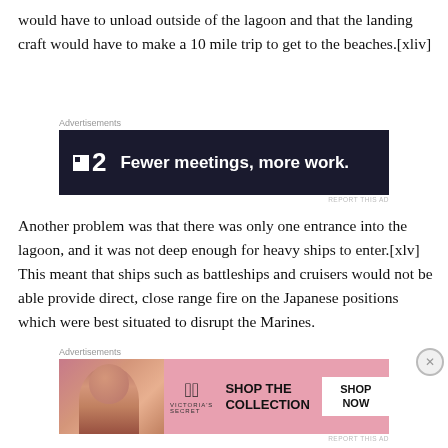would have to unload outside of the lagoon and that the landing craft would have to make a 10 mile trip to get to the beaches.[xliv]
[Figure (screenshot): Dark advertisement banner for a product called '2' with tagline 'Fewer meetings, more work.' on black background]
Another problem was that there was only one entrance into the lagoon, and it was not deep enough for heavy ships to enter.[xlv] This meant that ships such as battleships and cruisers would not be able provide direct, close range fire on the Japanese positions which were best situated to disrupt the Marines.
[Figure (screenshot): Victoria's Secret advertisement banner with pink background showing a model and 'SHOP THE COLLECTION' text with 'SHOP NOW' button]